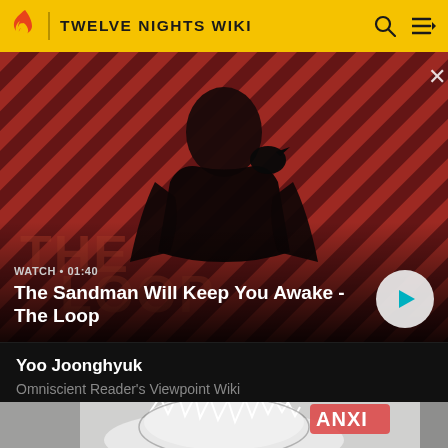TWELVE NIGHTS WIKI
[Figure (screenshot): Hero banner showing a dark-cloaked figure with a raven on shoulder against a red and black diagonal striped background. Text overlay: WATCH • 01:40 / The Sandman Will Keep You Awake - The Loop. Play button on right.]
WATCH • 01:40
The Sandman Will Keep You Awake - The Loop
Yoo Joonghyuk
Omniscient Reader's Viewpoint Wiki
[Figure (illustration): Partial view of an anime/manga style illustration showing a white and black creature with 'ANXI' text visible in the upper right corner.]